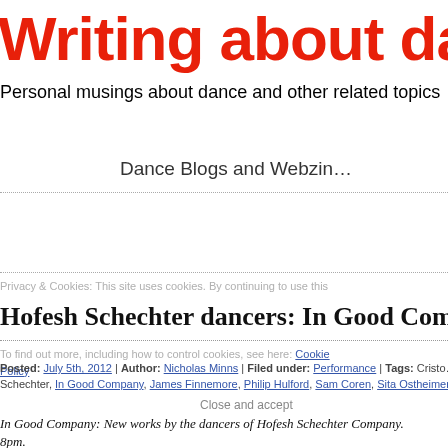Writing about dance
Personal musings about dance and other related topics
Dance Blogs and Webzines
Privacy & Cookies: This site uses cookies. By continuing to use this
Hofesh Schechter dancers: In Good Company
To find out more, including how to control cookies, see here: Cookie Policy
Posted: July 5th, 2012 | Author: Nicholas Minns | Filed under: Performance | Tags: Christo Schechter, In Good Company, James Finnemore, Philip Hulford, Sam Coren, Sita Ostheimer
Close and accept
In Good Company: New works by the dancers of Hofesh Schechter Company.
8pm.